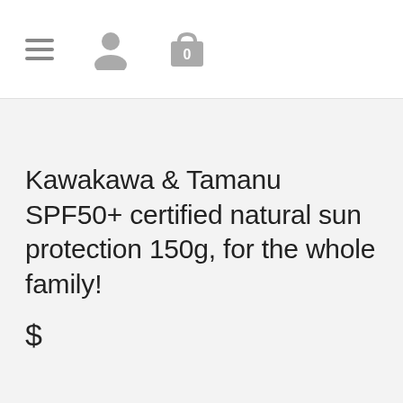[Figure (screenshot): Mobile website header navigation bar with hamburger menu icon, user account icon, and shopping cart icon with badge showing 0]
Kawakawa & Tamanu SPF50+ certified natural sun protection 150g, for the whole family!
$